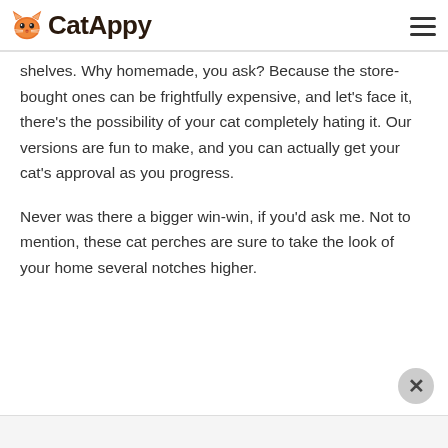CatAppy
shelves. Why homemade, you ask? Because the store-bought ones can be frightfully expensive, and let's face it, there's the possibility of your cat completely hating it. Our versions are fun to make, and you can actually get your cat's approval as you progress.
Never was there a bigger win-win, if you'd ask me. Not to mention, these cat perches are sure to take the look of your home several notches higher.